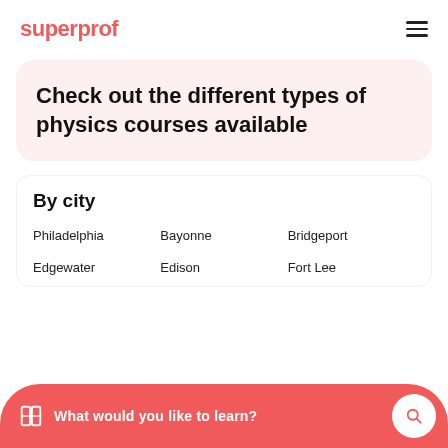superprof
Check out the different types of physics courses available
By city
Philadelphia
Bayonne
Bridgeport
Edgewater
Edison
Fort Lee
What would you like to learn?